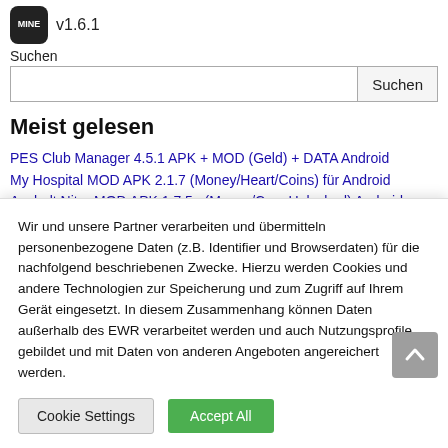v1.6.1
Suchen
Meist gelesen
PES Club Manager 4.5.1 APK + MOD (Geld) + DATA Android
My Hospital MOD APK 2.1.7 (Money/Heart/Coins) für Android
Asphalt Nitro MOD APK 1.7.5a (Money/Cars Unlocked) Android
Empire Warriors TD: Defense Battle 2.4.50 Apk + Mod (Geld) Android
Wir und unsere Partner verarbeiten und übermitteln personenbezogene Daten (z.B. Identifier und Browserdaten) für die nachfolgend beschriebenen Zwecke. Hierzu werden Cookies und andere Technologien zur Speicherung und zum Zugriff auf Ihrem Gerät eingesetzt. In diesem Zusammenhang können Daten außerhalb des EWR verarbeitet werden und auch Nutzungsprofile gebildet und mit Daten von anderen Angeboten angereichert werden.
Cookie Settings
Accept All